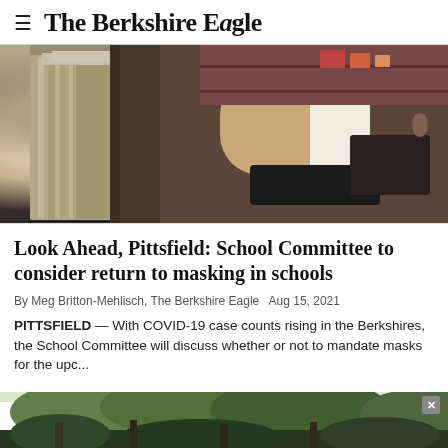≡ The Berkshire Eagle
[Figure (photo): A person sitting at a desk working with papers and files, with stacks of manila folders in the foreground on the left side, a keyboard visible in the middle, and shelving with items in the background.]
Look Ahead, Pittsfield: School Committee to consider return to masking in schools
By Meg Britton-Mehlisch, The Berkshire Eagle  Aug 15, 2021
PITTSFIELD — With COVID-19 case counts rising in the Berkshires, the School Committee will discuss whether or not to mandate masks for the upc...
[Figure (photo): Outdoor nature scene with trees, partially visible at the bottom of the page.]